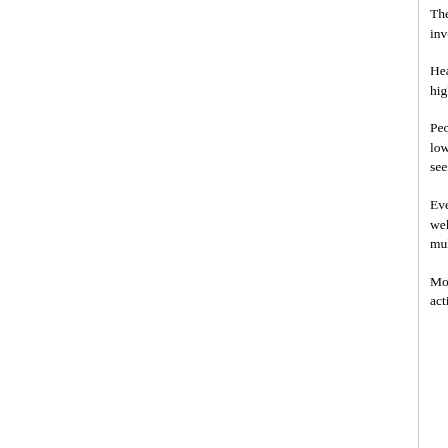The benefits of physical activity on cardiorespiratory health are among the health benefits. Cardiorespiratory health involv...
Heart diseases and stroke are two of the leading causes... the likelihood of cardiovascular diseases include s... diabetes, and high levels of certain blood lipids (su... cardiorespiratory fitness also is a risk factor for hea...
People who do moderate- or vigorous-intensity ae... cardiovascular disease than do inactive people. Re... stroke, and have lower blood pressure, better bloo... cardiovascular disease occur at activity levels equ... activity. Even greater benefits are seen with 200 m... strong that greater amounts of physical activity res... disease.
Everyone can gain the cardiovascular health bene... provides favorable cardiorespiratory health and fitr... older people, as well as for adults of various races... cardiorespiratory fitness in individuals with some d... both legs and those with multiple sclerosis, stroke,...
Moderate-intensity physical activity is safe for gen... cardiorespiratory fitness without increasing the risk... Physical activity during the postpartum period also...